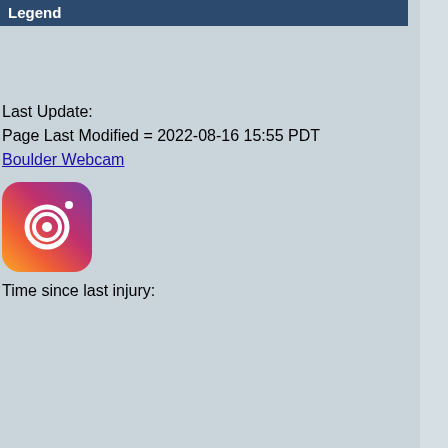Legend
Last Update:
Page Last Modified = 2022-08-16 15:55 PDT
Boulder Webcam
[Figure (logo): Instagram logo icon — rounded square with gradient background (purple to orange) and white camera outline]
Time since last injury: